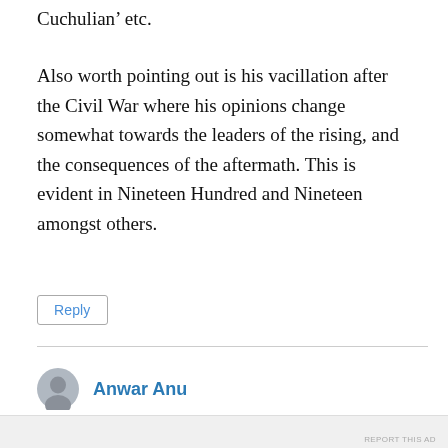Cuchulian' etc.
Also worth pointing out is his vacillation after the Civil War where his opinions change somewhat towards the leaders of the rising, and the consequences of the aftermath. This is evident in Nineteen Hundred and Nineteen amongst others.
Reply
Anwar Anu
Advertisements